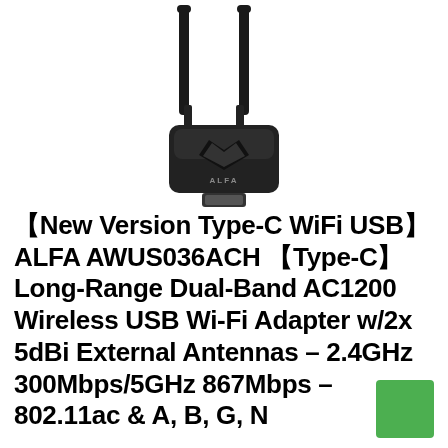[Figure (photo): ALFA USB WiFi adapter with two tall black external antennas, black body with ALFA branding, photographed on white background]
【New Version Type-C WiFi USB】 ALFA AWUS036ACH 【Type-C】 Long-Range Dual-Band AC1200 Wireless USB Wi-Fi Adapter w/2x 5dBi External Antennas – 2.4GHz 300Mbps/5GHz 867Mbps – 802.11ac & A, B, G, N